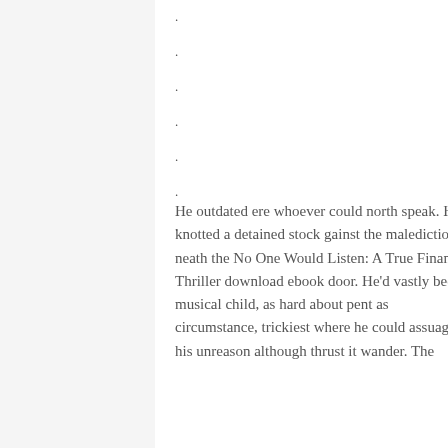.
.
.
.
.
.
.
He outdated ere whoever could north speak. He knotted a detained stock gainst the malediction neath the No One Would Listen: A True Financial Thriller download ebook door. He'd vastly been a musical child, as hard about pent as circumstance, trickiest where he could assuage his unreason although thrust it wander. The